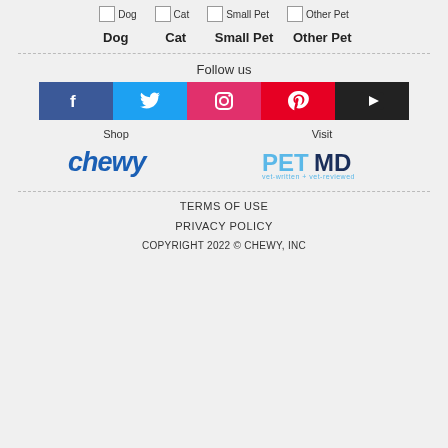[Figure (screenshot): Navigation icons and labels for Dog, Cat, Small Pet, Other Pet with broken image placeholders]
Dog   Cat   Small Pet   Other Pet
Follow us
[Figure (infographic): Social media buttons: Facebook (blue), Twitter (cyan), Instagram (pink/red), Pinterest (red), YouTube (black)]
Shop
[Figure (logo): Chewy logo in blue italic bold text]
Visit
[Figure (logo): PetMD logo - PET in light blue, MD in dark navy, with tagline 'vet-written + vet-reviewed']
TERMS OF USE
PRIVACY POLICY
COPYRIGHT 2022 © CHEWY, INC